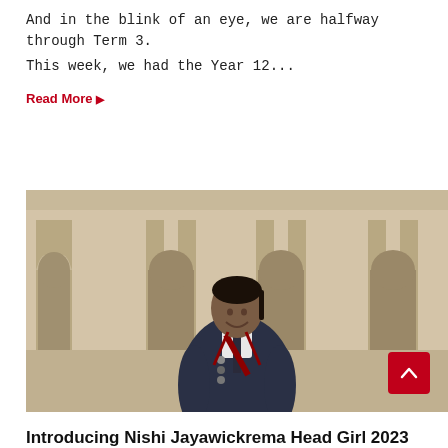And in the blink of an eye, we are halfway through Term 3.
This week, we had the Year 12...
Read More ▶
[Figure (photo): A smiling female student in school uniform (dark blazer with badges and a red tie/sash) standing in front of an arched building courtyard. A red scroll-to-top button is visible in the bottom right of the image.]
Introducing Nishi Jayawickrema Head Girl 2023